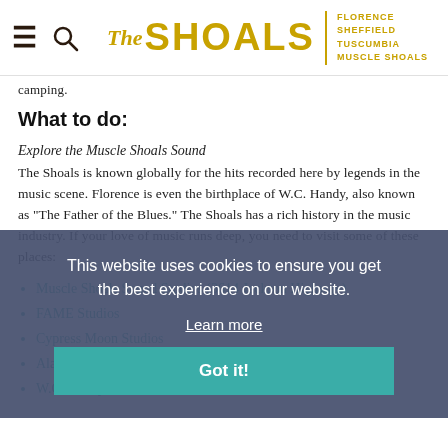The Shoals — Florence, Sheffield, Tuscumbia, Muscle Shoals
camping.
What to do:
Explore the Muscle Shoals Sound
The Shoals is known globally for the hits recorded here by legends in the music scene. Florence is even the birthplace of W.C. Handy, also known as “The Father of the Blues.” The Shoals has a rich history in the music industry. If your love of music runs deep, you need to visit some of these places:
Muscle Shoals Sound Studios (3614 Jackson Highway)
FAME Studios
Cypress Moon Studios
Alabama Music Hall of Fame
W.C. Handy Home and Museum
This website uses cookies to ensure you get the best experience on our website. Learn more Got it!